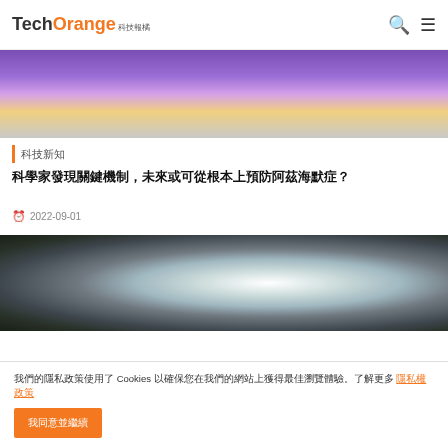TechOrange 科技報橘
[Figure (photo): Top portion of article image showing a person in white coat with purple/yellow background]
科技新知
科學家發現關鍵機制，未來或可從根本上預防阿茲海默症？
2022-09-01
[Figure (photo): Satellite image of a typhoon/hurricane viewed from space]
我們的隱私政策使用了 Cookies 以確保您在我們的網站上獲得最佳瀏覽體驗。了解更多 隱私權政策
我同意並繼續